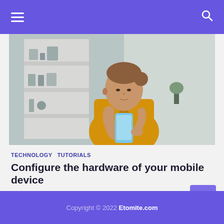Navigation header with hamburger menu and search icon
[Figure (photo): Woman in yellow shirt looking at her mobile phone, bookshelf in background]
TECHNOLOGY  TUTORIALS
Configure the hardware of your mobile device
August 30, 2022
Copyright © 2022 Etomite.com